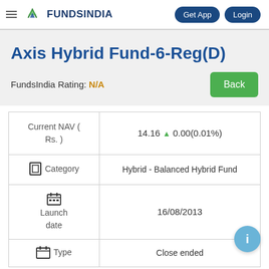FundsIndia — Get App | Login
Axis Hybrid Fund-6-Reg(D)
FundsIndia Rating: N/A
|  |  |
| --- | --- |
| Current NAV ( Rs. ) | 14.16 ▲ 0.00(0.01%) |
| Category | Hybrid - Balanced Hybrid Fund |
| Launch date | 16/08/2013 |
| Type | Close ended |